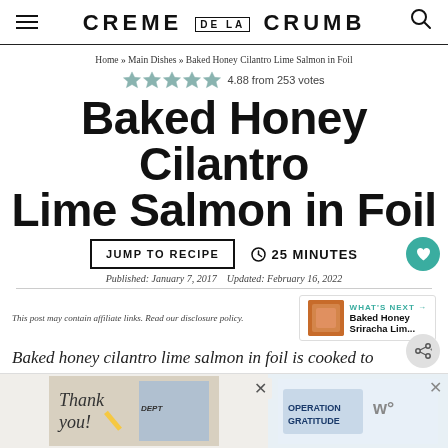CREME DE LA CRUMB
Home » Main Dishes » Baked Honey Cilantro Lime Salmon in Foil
4.88 from 253 votes
Baked Honey Cilantro Lime Salmon in Foil
JUMP TO RECIPE  25 MINUTES
Published: January 7, 2017   Updated: February 16, 2022
This post may contain affiliate links. Read our disclosure policy.
WHAT'S NEXT → Baked Honey Sriracha Lim...
Baked honey cilantro lime salmon in foil is cooked to tender, flaky perfection with the most flavorful